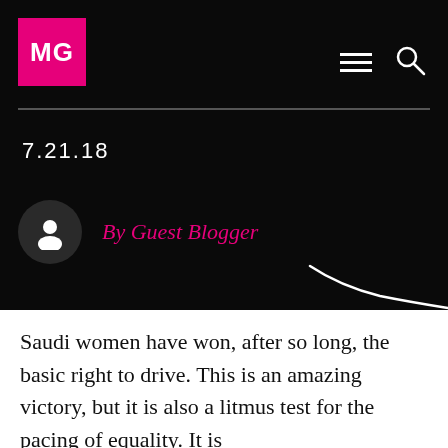MG
7.21.18
By Guest Blogger
Saudi women have won, after so long, the basic right to drive. This is an amazing victory, but it is also a litmus test for the pacing of equality. It is